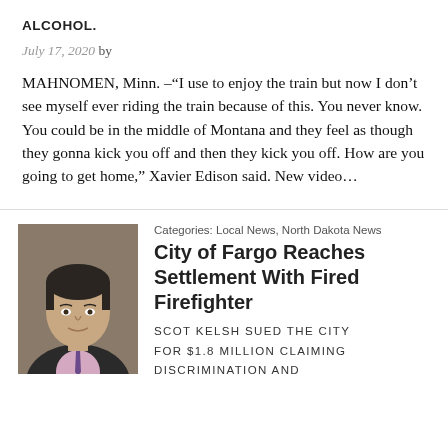ALCOHOL.
July 17, 2020 by
MAHNOMEN, Minn. –“I use to enjoy the train but now I don’t see myself ever riding the train because of this. You never know. You could be in the middle of Montana and they feel as though they gonna kick you off and then they kick you off. How are you going to get home,” Xavier Edison said. New video…
[Figure (photo): Headshot of a man in a dark suit with a light pink shirt and tie, middle-aged, dark hair]
Categories: Local News, North Dakota News
City of Fargo Reaches Settlement With Fired Firefighter
SCOT KELSH SUED THE CITY FOR $1.8 MILLION CLAIMING DISCRIMINATION AND